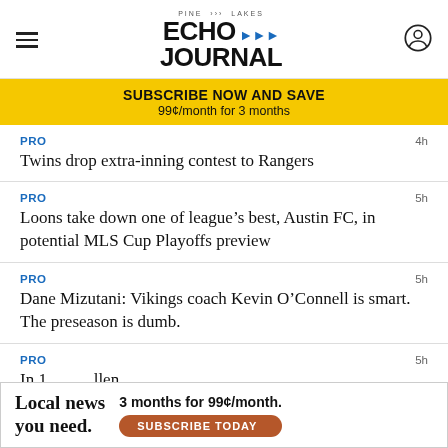Pine Lakes Echo Journal
SUBSCRIBE NOW AND SAVE
99¢/month for 3 months
PRO  4h
Twins drop extra-inning contest to Rangers
PRO  5h
Loons take down one of league's best, Austin FC, in potential MLS Cup Playoffs preview
PRO  5h
Dane Mizutani: Vikings coach Kevin O'Connell is smart. The preseason is dumb.
PRO  5h
In 1... llen Mo...
[Figure (infographic): Ad banner: Local news you need. 3 months for 99¢/month. Subscribe Today button.]